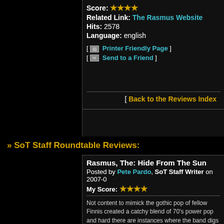Score: ★★★★
Related Link: The Rasmus Website
Hits: 2578
Language: english
[ 🖨 Printer Friendly Page ]
[ ✉ Send to a Friend ]
[ Back to the Reviews Index
» SoT Staff Roundtable Reviews:
Rasmus, The: Hide From The Sun
Posted by Pete Pardo, SoT Staff Writer on 2007-0
My Score: ★★★★
Not content to mimick the gothic pop of fellow Finnis... created a catchy blend of 70's power pop and hard... there are instances where the band digs into a dark... ("Immortal", "Lucifer's Angel"), for the most part this... along material with hooks and catchy guitar riffs tha... Trick, Raspberries, and BadFinger. Songs like "Nigh... Promises" are just a few examples of the cunning p... world, would be all over the airwaves with these tun... based ballads, there is the lush "Sail Away", and for... hard rock, look no further than "Keep Your Head...